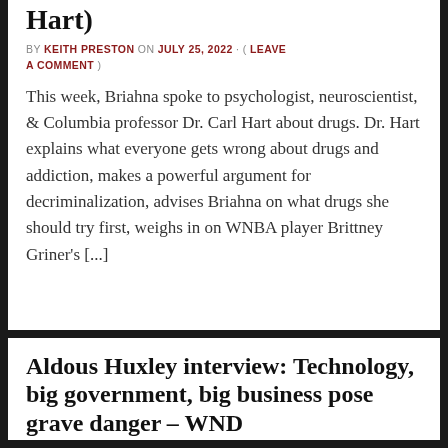Hart)
BY KEITH PRESTON ON JULY 25, 2022 · ( LEAVE A COMMENT )
This week, Briahna spoke to psychologist, neuroscientist, & Columbia professor Dr. Carl Hart about drugs. Dr. Hart explains what everyone gets wrong about drugs and addiction, makes a powerful argument for decriminalization, advises Briahna on what drugs she should try first, weighs in on WNBA player Brittney Griner's [...]
Aldous Huxley interview: Technology, big government, big business pose grave danger – WND
BY KEITH PRESTON ON JULY 23, 2022 · ( LEAVE